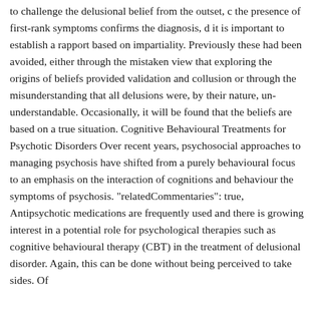to challenge the delusional belief from the outset, c the presence of first-rank symptoms confirms the diagnosis, d it is important to establish a rapport based on impartiality. Previously these had been avoided, either through the mistaken view that exploring the origins of beliefs provided validation and collusion or through the misunderstanding that all delusions were, by their nature, un-understandable. Occasionally, it will be found that the beliefs are based on a true situation. Cognitive Behavioural Treatments for Psychotic Disorders Over recent years, psychosocial approaches to managing psychosis have shifted from a purely behavioural focus to an emphasis on the interaction of cognitions and behaviour the symptoms of psychosis. "relatedCommentaries": true, Antipsychotic medications are frequently used and there is growing interest in a potential role for psychological therapies such as cognitive behavioural therapy (CBT) in the treatment of delusional disorder. Again, this can be done without being perceived to take sides. Of